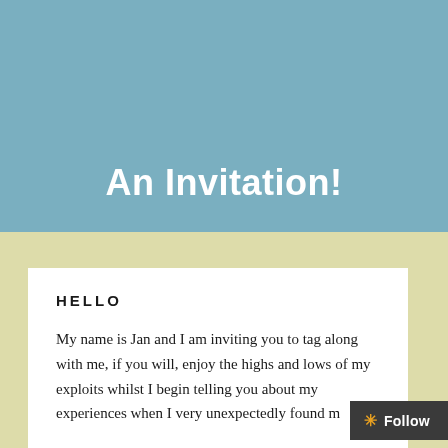An Invitation!
HELLO
My name is Jan and I am inviting you to tag along with me, if you will, enjoy the highs and lows of my exploits whilst I begin telling you about my experiences when I very unexpectedly found m